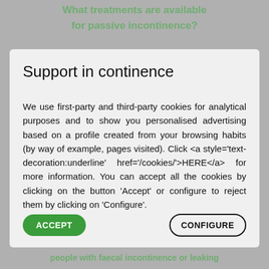Support in continence
We use first-party and third-party cookies for analytical purposes and to show you personalised advertising based on a profile created from your browsing habits (by way of example, pages visited). Click <a style='text-decoration:underline' href='/cookies/'>HERE</a> for more information. You can accept all the cookies by clicking on the button 'Accept' or configure to reject them by clicking on 'Configure'.